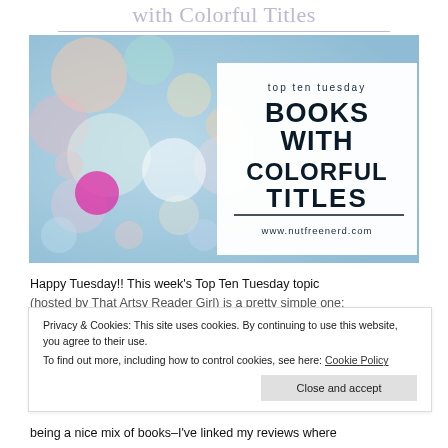with Colorful Titles
[Figure (photo): Bokeh/blurred lights photo on left half; white box on right with text: 'top ten tuesday BOOKS WITH COLORFUL TITLES www.nutfreenerd.com']
Happy Tuesday!! This week's Top Ten Tuesday topic (hosted by That Artsy Reader Girl) is a pretty simple one:
Privacy & Cookies: This site uses cookies. By continuing to use this website, you agree to their use.
To find out more, including how to control cookies, see here: Cookie Policy
Close and accept
being a nice mix of books–I've linked my reviews where